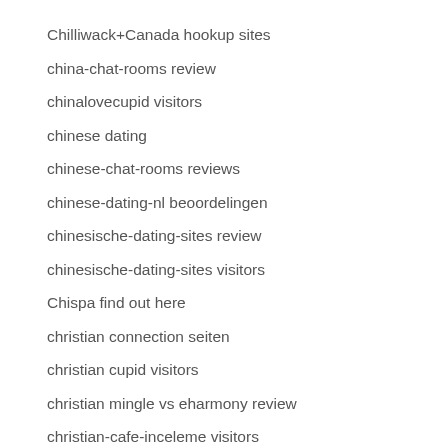Chilliwack+Canada hookup sites
china-chat-rooms review
chinalovecupid visitors
chinese dating
chinese-chat-rooms reviews
chinese-dating-nl beoordelingen
chinesische-dating-sites review
chinesische-dating-sites visitors
Chispa find out here
christian connection seiten
christian cupid visitors
christian mingle vs eharmony review
christian-cafe-inceleme visitors
christian-dating beoordelingen
Christian cafe...